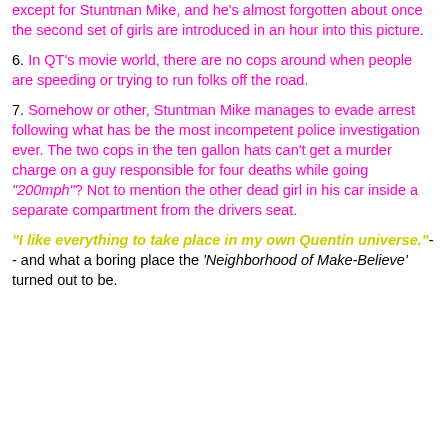excerpt for Stuntman Mike, and he's almost forgotten about once the second set of girls are introduced an hour into this picture.
6. In QT's movie world, there are no cops around when people are speeding or trying to run folks off the road.
7. Somehow or other, Stuntman Mike manages to evade arrest following what has be the most incompetent police investigation ever. The two cops in the ten gallon hats can't get a murder charge on a guy responsible for four deaths while going "200mph"? Not to mention the other dead girl in his car inside a separate compartment from the drivers seat.
"I like everything to take place in my own Quentin universe." -- and what a boring place the 'Neighborhood of Make-Believe' turned out to be.